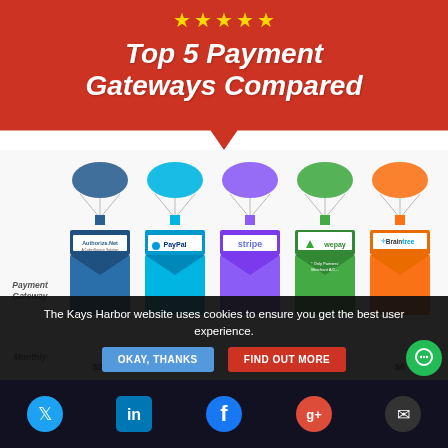Top 5 Payment Gateways Compared
[Figure (infographic): Infographic comparing 5 payment gateways (Authorize.Net, PayPal, Stripe, WePay, Braintree) shown as banner/package drop illustrations with parachutes in different colors (dark blue, teal, purple, green, orange). Row labels on left: Payment Gateway, Monthly. Partial values visible at bottom (~$25, $0, $0, $0, $0).]
The Kays Harbor website uses cookies to ensure you get the best user experience.
OKAY, THANKS
FIND OUT MORE